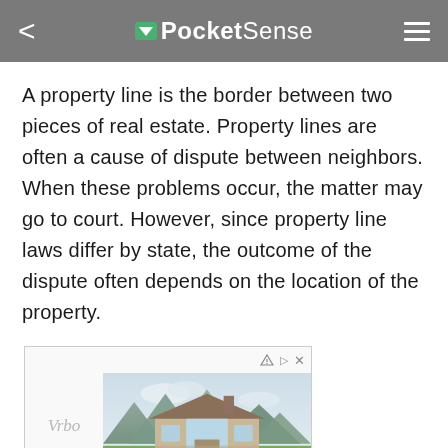PocketSense
A property line is the border between two pieces of real estate. Property lines are often a cause of dispute between neighbors. When these problems occur, the matter may go to court. However, since property line laws differ by state, the outcome of the dispute often depends on the location of the property.
[Figure (photo): Advertisement banner for Vrbo showing a luxury mountain home with large windows, stone exterior, and mountain backdrop with green meadow in foreground.]